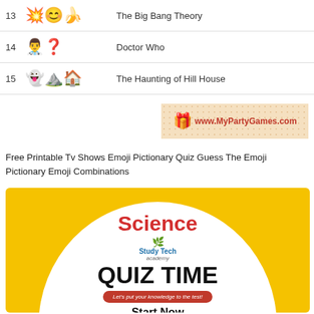| # | Emoji | Answer |
| --- | --- | --- |
| 13 | 💥😊🍌 | The Big Bang Theory |
| 14 | 👨‍⚕️❓ | Doctor Who |
| 15 | 👻⛰️🏠 | The Haunting of Hill House |
[Figure (logo): MyPartyGames.com brand banner with gift icon]
Free Printable Tv Shows Emoji Pictionary Quiz Guess The Emoji Pictionary Emoji Combinations
[Figure (infographic): Science Quiz Time promotional image with yellow background, white circle, Study Tech Academy logo, QUIZ TIME text, and Start Now button]